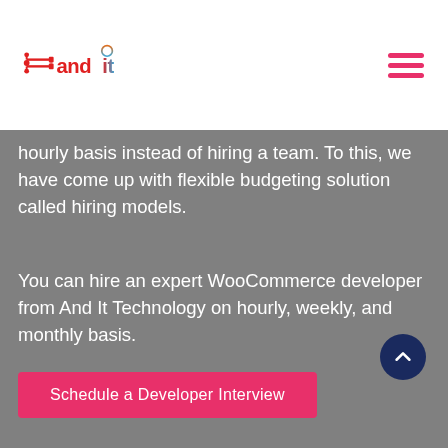[Figure (logo): And It Technology logo — red circuit board icon with 'and' in red and 'it' in gradient red-blue text]
hourly basis instead of hiring a team. To this, we have come up with flexible budgeting solution called hiring models.
You can hire an expert WooCommerce developer from And It Technology on hourly, weekly, and monthly basis.
Schedule a Developer Interview